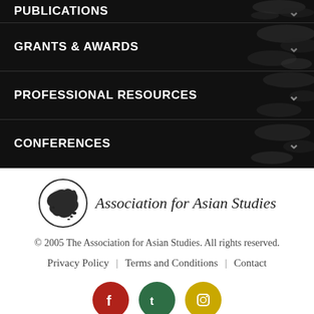PUBLICATIONS
GRANTS & AWARDS
PROFESSIONAL RESOURCES
CONFERENCES
[Figure (logo): Association for Asian Studies logo: circular emblem with map of Asia, alongside italic text 'Association for Asian Studies']
© 2005 The Association for Asian Studies. All rights reserved.
Privacy Policy | Terms and Conditions | Contact